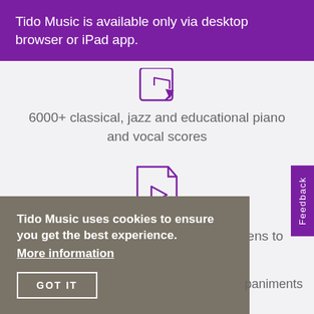Tido Music is available only via desktop browser or iPad app.
[Figure (illustration): Purple outline icon of a music score/document with a play triangle inside, partially visible at top]
6000+ classical, jazz and educational piano and vocal scores
[Figure (illustration): Purple outline icon of a document/page with a play triangle inside, representing automatic page turning]
Automatic page turning – the app listens to you play!
Tido Music uses cookies to ensure you get the best experience.
More information
GOT IT
paniments